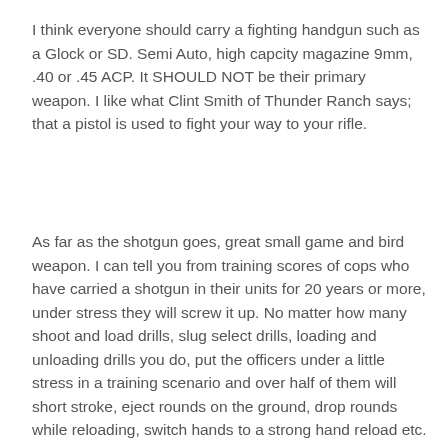I think everyone should carry a fighting handgun such as a Glock or SD. Semi Auto, high capcity magazine 9mm, .40 or .45 ACP. It SHOULD NOT be their primary weapon. I like what Clint Smith of Thunder Ranch says; that a pistol is used to fight your way to your rifle.
As far as the shotgun goes, great small game and bird weapon. I can tell you from training scores of cops who have carried a shotgun in their units for 20 years or more, under stress they will screw it up. No matter how many shoot and load drills, slug select drills, loading and unloading drills you do, put the officers under a little stress in a training scenario and over half of them will short stroke, eject rounds on the ground, drop rounds while reloading, switch hands to a strong hand reload etc. The main thing is the Book of Creed that